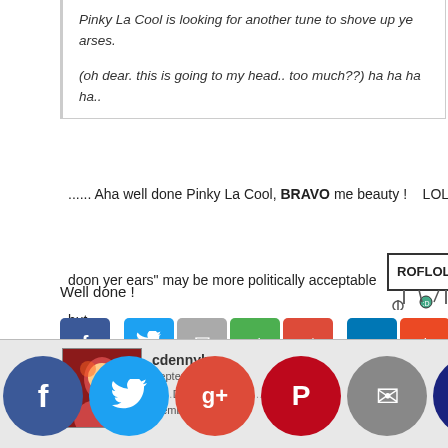Pinky La Cool is looking for another tune to shove up ye arses.
(oh dear. this is going to my head.. too much??) ha ha ha ha..
...... Aha well done Pinky La Cool, BRAVO me beauty !    LOLOL - [...] doon yer ears" may be more politically acceptable [...] - but [...]
[Figure (illustration): ROFLOL sign held by cartoon character]
Well done !
[Figure (infographic): Social media share buttons: Facebook, Twitter, Email, Share, Google+, LinkedIn, StumbleUpon]
I seriously recommend not copying my mistakes. D'oh -
[Figure (illustration): Cartoon character scratching head (D'oh!)]
Please make your own, different mistakes, and help us all learn :-)
cdennyb
September 2, 20[...]
[Figure (infographic): Social media overlay circles: Facebook, Twitter, Google+, Pinterest, Email, Crown icon]